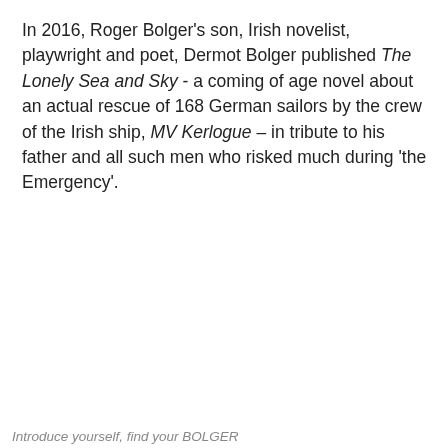In 2016, Roger Bolger's son, Irish novelist, playwright and poet, Dermot Bolger published The Lonely Sea and Sky - a coming of age novel about an actual rescue of 168 German sailors by the crew of the Irish ship, MV Kerlogue – in tribute to his father and all such men who risked much during 'the Emergency'.
[Figure (screenshot): A blue rounded rectangle button with white bold text 'Introduce yourself', over a grey background section showing a website preview with a family crest logo for 'My BOLGER Family Story', overlaid by a cookie consent banner with green background offering 'Ok' button.]